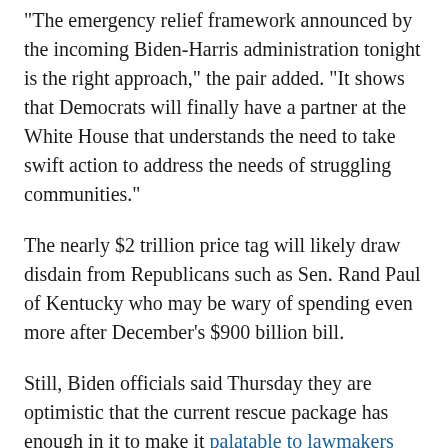"The emergency relief framework announced by the incoming Biden-Harris administration tonight is the right approach," the pair added. "It shows that Democrats will finally have a partner at the White House that understands the need to take swift action to address the needs of struggling communities."
The nearly $2 trillion price tag will likely draw disdain from Republicans such as Sen. Rand Paul of Kentucky who may be wary of spending even more after December's $900 billion bill.
Still, Biden officials said Thursday they are optimistic that the current rescue package has enough in it to make it palatable to lawmakers